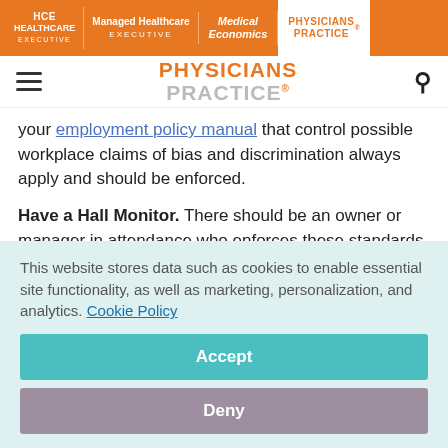HCE HEALTHCARE EXECUTIVE | Managed Healthcare EXECUTIVE | Medical Economics | PHYSICIANS PRACTICE
PHYSICIANS PRACTICE
your employment policy manual that control possible workplace claims of bias and discrimination always apply and should be enforced.
Have a Hall Monitor. There should be an owner or manager in attendance who enforces these standards and their conduct should set the tone and be exemplary.  This helps prevent any
This website stores data such as cookies to enable essential site functionality, as well as marketing, personalization, and analytics. Cookie Policy
Accept
Deny